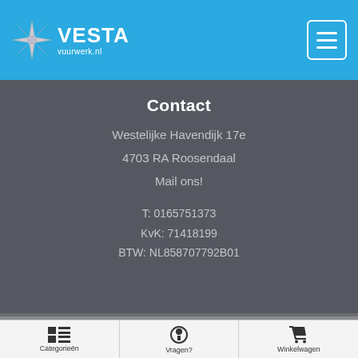Vesta Vuurwerk.nl — navigation header with logo and menu button
Contact
Westelijke Havendijk 17e
4703 RA Roosendaal
Mail ons!
T: 0165751373
KvK: 71418199
BTW: NL858707792B01
Categorieën | Vragen? | Winkelwagen